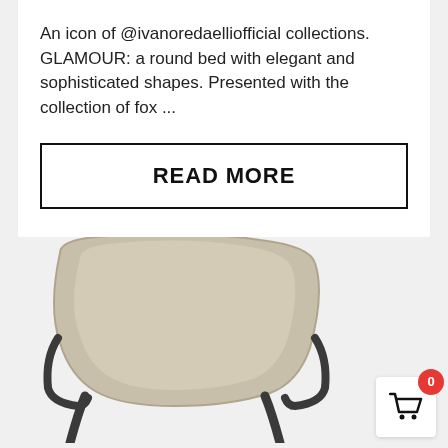An icon of @ivanoredaelliofficial collections. GLAMOUR: a round bed with elegant and sophisticated shapes. Presented with the collection of fox ...
READ MORE
[Figure (photo): Bottom portion of an upholstered chair with beige/tan fabric back and dark metal frame legs, photographed against a light background.]
[Figure (other): Shopping cart icon widget with a red badge showing the number 0, positioned in the bottom right corner.]